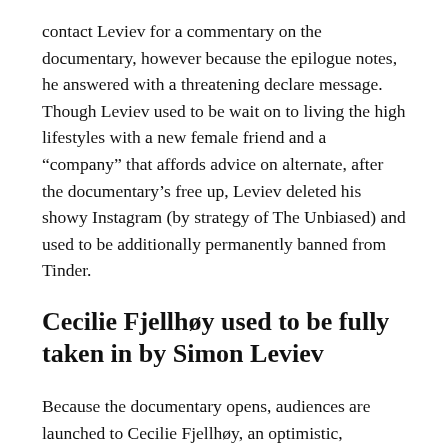contact Leviev for a commentary on the documentary, however because the epilogue notes, he answered with a threatening declare message. Though Leviev used to be wait on to living the high lifestyles with a new female friend and a "company" that affords advice on alternate, after the documentary's free up, Leviev deleted his showy Instagram (by strategy of The Unbiased) and used to be additionally permanently banned from Tinder.
Cecilie Fjellhøy used to be fully taken in by Simon Leviev
Because the documentary opens, audiences are launched to Cecilie Fjellhøy, an optimistic, romantic Norwegian girl who resides in London and used to be straight away smitten when she matched with Leviev on Tinder. Nonetheless, after she fell head over heels in adore with Leviev — who took her on luxurious